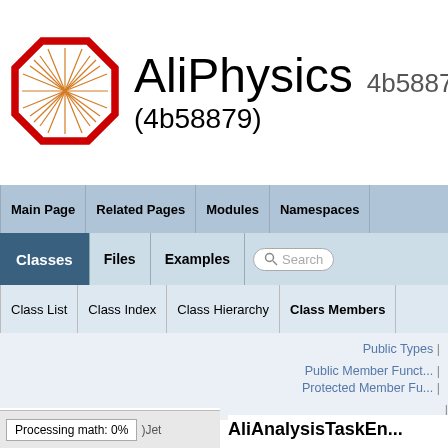AliPhysics 4b58879 (4b58879)
[Figure (logo): AliPhysics octagon logo with red border and starburst pattern]
Main Page | Related Pages | Modules | Namespaces
Classes | Files | Examples | Search
Class List | Class Index | Class Hierarchy | Class Members
Public Types | Public Member Funct... | Protected Member Fu... | Protected Attributes | Private Member Func... | List of all members
AliAnalysisTaskEn...
Processing math: 0%  )Jet